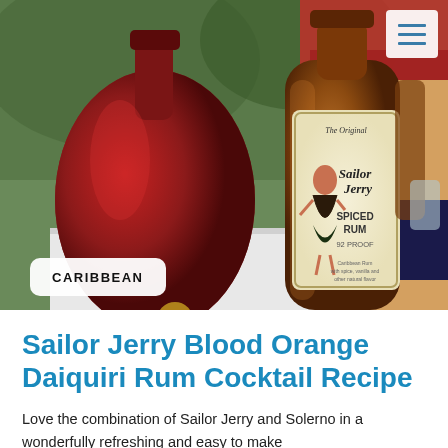[Figure (photo): Photo of two liquor bottles on a table outdoors: Solerno Blood Orange Liqueur (large red bottle on left) and Sailor Jerry Spiced Rum 92 Proof (center, with hula girl label). Background shows red tent/awning and people.]
CARIBBEAN
Sailor Jerry Blood Orange Daiquiri Rum Cocktail Recipe
Love the combination of Sailor Jerry and Solerno in a wonderfully refreshing and easy to make